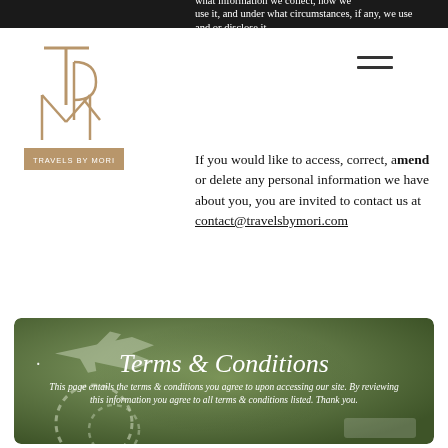what information we collect, how we use it, and under what circumstances, if any, we use and or disclose it.
[Figure (logo): Travels by Mori logo — stylized TRM monogram with 'TRAVELS BY MORI' text in gold/brown]
If you would like to access, correct, amend or delete any personal information we have about you, you are invited to contact us at contact@travelsbymori.com
[Figure (illustration): Green banner with airplane silhouette and dashed flight path, featuring Terms & Conditions heading and descriptive text. Title: Terms & Conditions. Body: This page entails the terms & conditions you agree to upon accessing our site. By reviewing this information you agree to all terms & conditions listed. Thank you.]